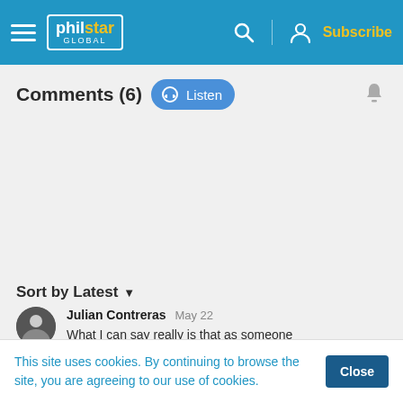philstar GLOBAL — Subscribe
Comments (6)
Sort by Latest
Julian Contreras May 22 — What I can say really is that as someone
This site uses cookies. By continuing to browse the site, you are agreeing to our use of cookies.